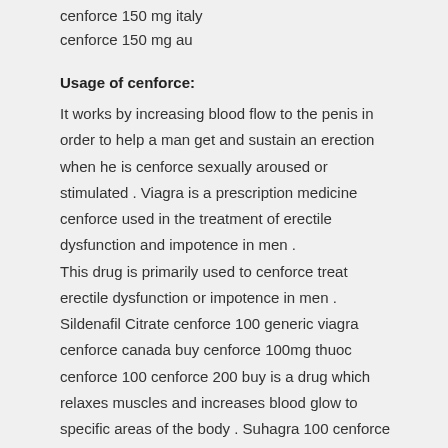cenforce 150 mg italy
cenforce 150 mg au
Usage of cenforce:
It works by increasing blood flow to the penis in order to help a man get and sustain an erection when he is cenforce sexually aroused or stimulated . Viagra is a prescription medicine cenforce used in the treatment of erectile dysfunction and impotence in men . This drug is primarily used to cenforce treat erectile dysfunction or impotence in men . Sildenafil Citrate cenforce 100 generic viagra cenforce canada buy cenforce 100mg thuoc cenforce 100 cenforce 200 buy is a drug which relaxes muscles and increases blood glow to specific areas of the body . Suhagra 100 cenforce mg